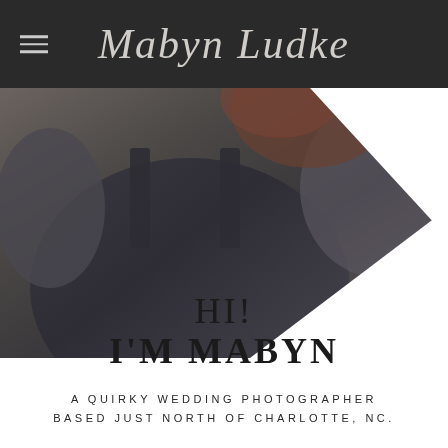Mabyn Ludke
[Figure (photo): A person wearing a dark grey/charcoal sleeveless top with arms raised, photographed from chest level. The photo has a diagonal crop with white space appearing in the lower-right corner.]
HI!
I'M MABYN
A QUIRKY WEDDING PHOTOGRAPHER BASED JUST NORTH OF CHARLOTTE, NC.